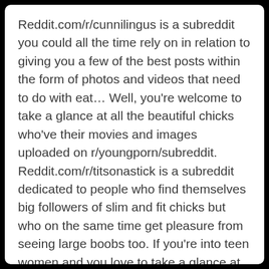Reddit.com/r/cunnilingus is a subreddit you could all the time rely on in relation to giving you a few of the best posts within the form of photos and videos that need to do with eat... Well, you're welcome to take a glance at all the beautiful chicks who've their movies and images uploaded on r/youngporn/subreddit. Reddit.com/r/titsonastick is a subreddit dedicated to people who find themselves big followers of slim and fit chicks but who on the same time get pleasure from seeing large boobs too. If you're into teen women and you love to take a glance at their soiled selfies or videos, you presumably can take a glance